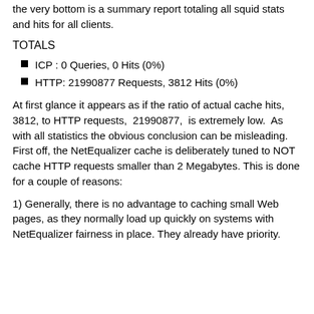the very bottom is a summary report totaling all squid stats and hits for all clients.
TOTALS
ICP : 0 Queries, 0 Hits (0%)
HTTP: 21990877 Requests, 3812 Hits (0%)
At first glance it appears as if the ratio of actual cache hits,  3812, to HTTP requests,  21990877,  is extremely low.  As with all statistics the obvious conclusion can be misleading. First off, the NetEqualizer cache is deliberately tuned to NOT cache HTTP requests smaller than 2 Megabytes. This is done for a couple of reasons:
1) Generally, there is no advantage to caching small Web pages, as they normally load up quickly on systems with NetEqualizer fairness in place. They already have priority.